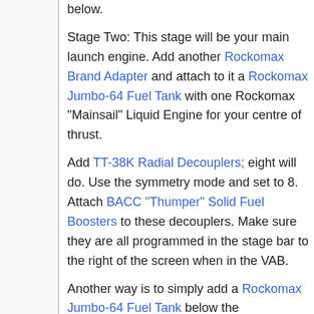below.
Stage Two: This stage will be your main launch engine. Add another Rockomax Brand Adapter and attach to it a Rockomax Jumbo-64 Fuel Tank with one Rockomax "Mainsail" Liquid Engine for your centre of thrust.
Add TT-38K Radial Decouplers; eight will do. Use the symmetry mode and set to 8. Attach BACC "Thumper" Solid Fuel Boosters to these decouplers. Make sure they are all programmed in the stage bar to the right of the screen when in the VAB.
Another way is to simply add a Rockomax Jumbo-64 Fuel Tank below the probe/satellite and then a Rockomax "Skipper" Liquid Engine.
Make sure you save! Use a name you'll